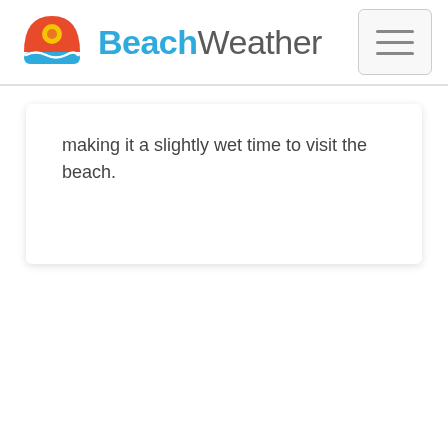BeachWeather
making it a slightly wet time to visit the beach.